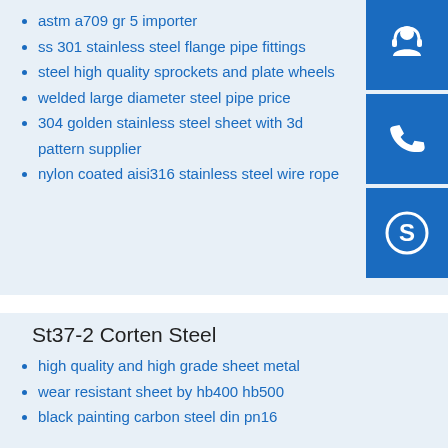astm a709 gr 5 importer
ss 301 stainless steel flange pipe fittings
steel high quality sprockets and plate wheels
welded large diameter steel pipe price
304 golden stainless steel sheet with 3d pattern supplier
nylon coated aisi316 stainless steel wire rope
[Figure (infographic): Three sidebar contact icons: customer service (headset), phone, and Skype (S logo), each in a blue square]
St37-2 Corten Steel
high quality and high grade sheet metal
wear resistant sheet by hb400 hb500
black painting carbon steel din pn16